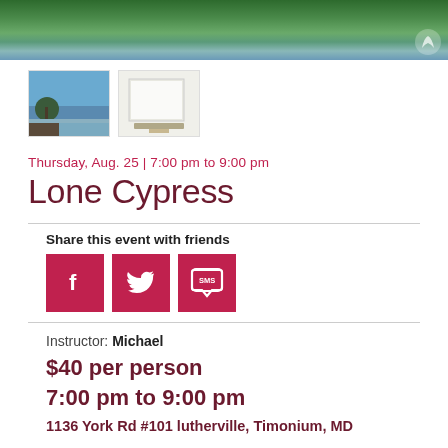[Figure (photo): Main banner photo showing green tropical/marsh plants and foliage with watermark logo in bottom right]
[Figure (photo): Two thumbnail images: left shows lone cypress tree on rocky coast with blue ocean; right shows an easel or canvas setup]
Thursday, Aug. 25 | 7:00 pm to 9:00 pm
Lone Cypress
Share this event with friends
[Figure (infographic): Social share buttons: Facebook (f), Twitter (bird), SMS (speech bubble with SMS text) — all in magenta/pink squares]
Instructor: Michael
$40 per person
7:00 pm to 9:00 pm
1136 York Rd #101 lutherville, Timonium, MD